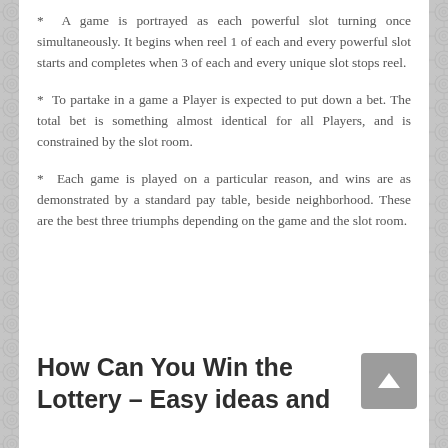* A game is portrayed as each powerful slot turning once simultaneously. It begins when reel 1 of each and every powerful slot starts and completes when 3 of each and every unique slot stops reel.
* To partake in a game a Player is expected to put down a bet. The total bet is something almost identical for all Players, and is constrained by the slot room.
* Each game is played on a particular reason, and wins are as demonstrated by a standard pay table, beside neighborhood. These are the best three triumphs depending on the game and the slot room.
How Can You Win the Lottery – Easy ideas and